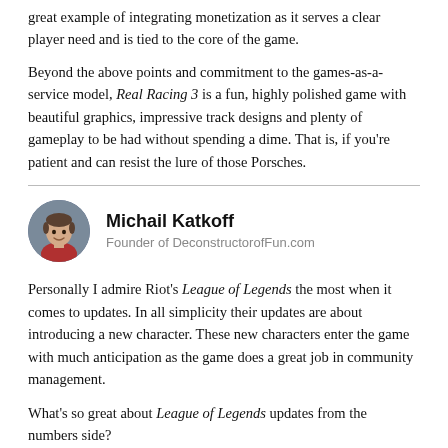great example of integrating monetization as it serves a clear player need and is tied to the core of the game.
Beyond the above points and commitment to the games-as-a-service model, Real Racing 3 is a fun, highly polished game with beautiful graphics, impressive track designs and plenty of gameplay to be had without spending a dime. That is, if you're patient and can resist the lure of those Porsches.
Michail Katkoff
Founder of DeconstructorofFun.com
Personally I admire Riot's League of Legends the most when it comes to updates. In all simplicity their updates are about introducing a new character. These new characters enter the game with much anticipation as the game does a great job in community management.
What's so great about League of Legends updates from the numbers side?
Well firstly they are always targeted at a 100% of the user base, engaging active players as well as drawing back inactive ones.
Secondly, it gets the community going and significantly increases revenue.
You see, Riot always makes the new characters extra strong so that maximum amount of players would buy the character at a high price. When community complains about the overly strong characters, they rebalance them, in the meantime, they do it